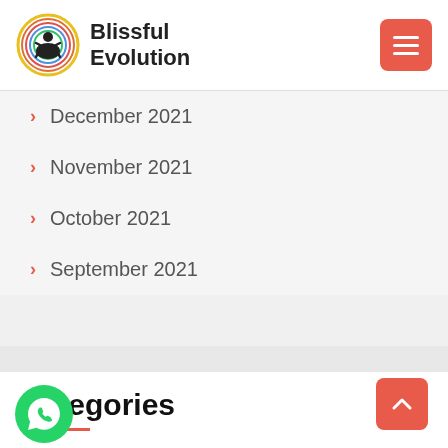Blissful Evolution
December 2021
November 2021
October 2021
September 2021
Categories
energy healing